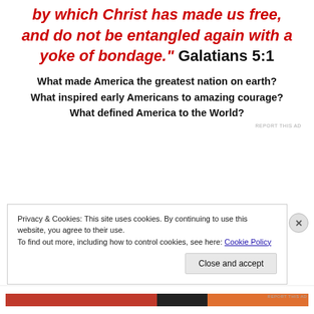by which Christ has made us free, and do not be entangled again with a yoke of bondage." Galatians 5:1
What made America the greatest nation on earth? What inspired early Americans to amazing courage? What defined America to the World?
REPORT THIS AD
Privacy & Cookies: This site uses cookies. By continuing to use this website, you agree to their use.
To find out more, including how to control cookies, see here: Cookie Policy
Close and accept